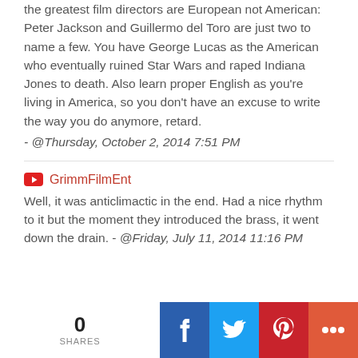the greatest film directors are European not American: Peter Jackson and Guillermo del Toro are just two to name a few. You have George Lucas as the American who eventually ruined Star Wars and raped Indiana Jones to death. Also learn proper English as you're living in America, so you don't have an excuse to write the way you do anymore, retard. - @Thursday, October 2, 2014 7:51 PM
GrimmFilmEnt
Well, it was anticlimactic in the end.  Had a nice rhythm to it but the moment they introduced the brass, it went down the drain. - @Friday, July 11, 2014 11:16 PM
[Figure (infographic): Social sharing bar at the bottom: 0 SHARES label on the left, then Facebook (dark blue), Twitter (light blue), Pinterest (red), and More (orange-red) icon buttons.]